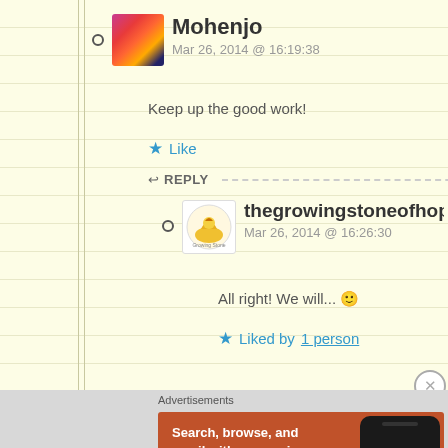Mohenjo
Mar 26, 2014 @ 16:19:38
Keep up the good work!
★ Like
↩ REPLY
thegrowingstoneofhope
Mar 26, 2014 @ 16:26:30
All right! We will... 🙂
★ Liked by 1 person
Advertisements
[Figure (screenshot): DuckDuckGo advertisement banner: Search, browse, and email with more privacy. All in One Free App. Shows phone with DuckDuckGo logo.]